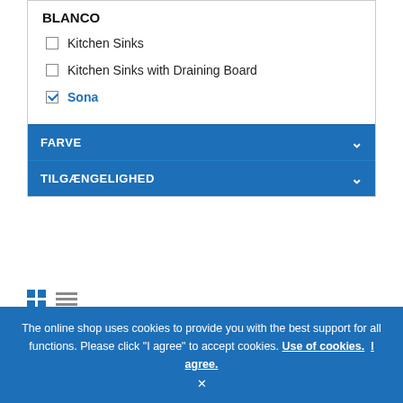BLANCO
Kitchen Sinks (unchecked)
Kitchen Sinks with Draining Board (unchecked)
Sona (checked)
FARVE
TILGÆNGELIGHED
28 Item(s)   Sho
Sort By:   Topseller ↑
The online shop uses cookies to provide you with the best support for all functions. Please click "I agree" to accept cookies. Use of cookies. I agree. ×